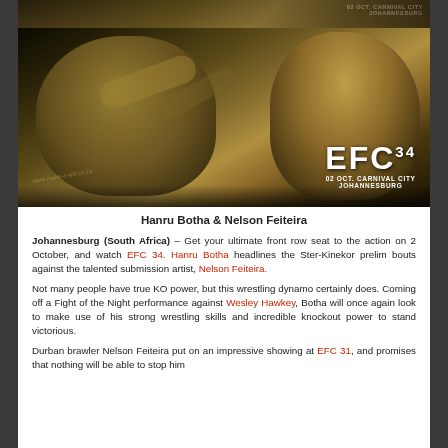[Figure (photo): Two MMA fighters grappling, with EFC 34 logo and '02 OCT. CARNIVAL CITY JOHANNESBURG' text overlay. Yellow-tinted action photo.]
Hanru Botha & Nelson Feiteira
Johannesburg (South Africa) – Get your ultimate front row seat to the action on 2 October, and watch EFC 34. Hanru Botha headlines the Ster-Kinekor prelim bouts against the talented submission artist, Nelson Feiteira.
Not many people have true KO power, but this wrestling dynamo certainly does. Coming off a Fight of the Night performance against Wesley Hawkey, Botha will once again look to make use of his strong wrestling skills and incredible knockout power to stand victorious.
Durban brawler Nelson Feiteira put on an impressive showing at EFC 31, and promises that nothing will be able to stop him